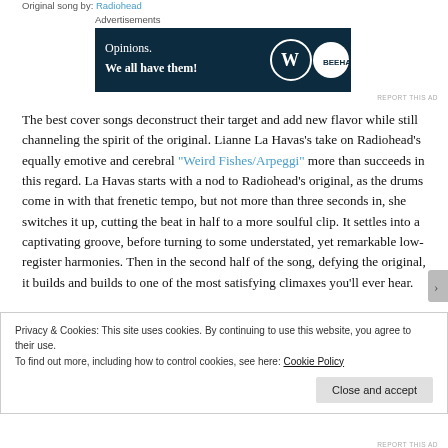Original song by: Radiohead
Advertisements
[Figure (other): Advertisement banner with dark navy background showing 'Opinions. We all have them!' with WordPress and Beehaw logos]
REPORT THIS AD
The best cover songs deconstruct their target and add new flavor while still channeling the spirit of the original. Lianne La Havas's take on Radiohead's equally emotive and cerebral "Weird Fishes/Arpeggi" more than succeeds in this regard. La Havas starts with a nod to Radiohead's original, as the drums come in with that frenetic tempo, but not more than three seconds in, she switches it up, cutting the beat in half to a more soulful clip. It settles into a captivating groove, before turning to some understated, yet remarkable low-register harmonies. Then in the second half of the song, defying the original, it builds and builds to one of the most satisfying climaxes you'll ever hear.
Privacy & Cookies: This site uses cookies. By continuing to use this website, you agree to their use.
To find out more, including how to control cookies, see here: Cookie Policy
Close and accept
REPORT THIS AD